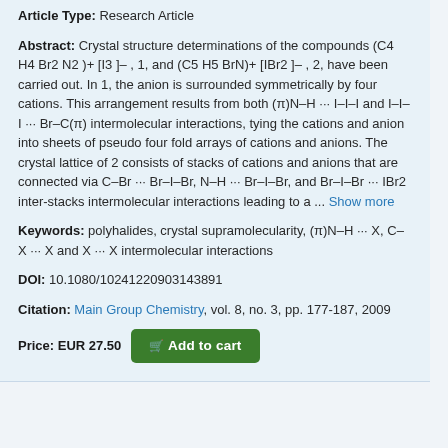Article Type: Research Article
Abstract: Crystal structure determinations of the compounds (C4 H4 Br2 N2 )+ [I3 ]– , 1, and (C5 H5 BrN)+ [IBr2 ]– , 2, have been carried out. In 1, the anion is surrounded symmetrically by four cations. This arrangement results from both (π)N–H ··· I–I–I and I–I–I ··· Br–C(π) intermolecular interactions, tying the cations and anion into sheets of pseudo four fold arrays of cations and anions. The crystal lattice of 2 consists of stacks of cations and anions that are connected via C–Br ··· Br–I–Br, N–H ··· Br–I–Br, and Br–I–Br ··· IBr2 inter-stacks intermolecular interactions leading to a ... Show more
Keywords: polyhalides, crystal supramolecularity, (π)N–H ··· X, C–X ··· X and X ··· X intermolecular interactions
DOI: 10.1080/10241220903143891
Citation: Main Group Chemistry, vol. 8, no. 3, pp. 177-187, 2009
Price: EUR 27.50  Add to cart